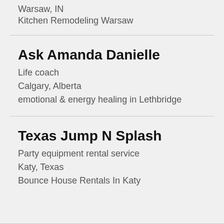Warsaw, IN
Kitchen Remodeling Warsaw
Ask Amanda Danielle
Life coach
Calgary, Alberta
emotional & energy healing in Lethbridge
Texas Jump N Splash
Party equipment rental service
Katy, Texas
Bounce House Rentals In Katy